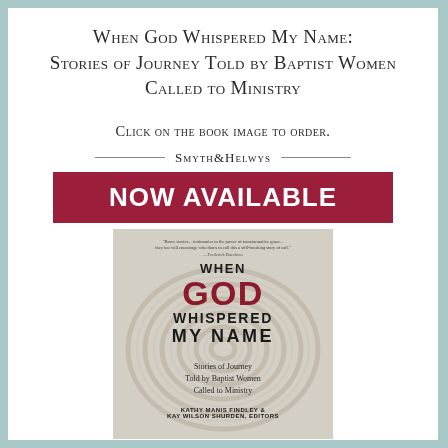When God Whispered My Name: Stories of Journey Told by Baptist Women Called to Ministry
Click on the book image to order.
[Figure (illustration): Smyth & Helwys publisher banner with 'NOW AVAILABLE' in white text on dark red/crimson background, followed by book cover image for 'When God Whispered My Name: Stories of Journey Told by Baptist Women Called to Ministry' by Kathy Manis Findley & Kay Wilson Shurden, Editors. Cover features a spiral/labyrinth design in grey tones with the title text overlaid.]